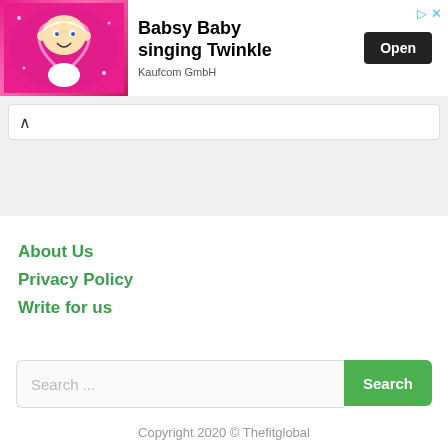[Figure (illustration): Babsy Baby singing Twinkle advertisement banner. Shows a cartoon baby with a heart glow on a pink sparkly background. Includes 'Open' button and Kaufcom GmbH branding.]
[Figure (screenshot): Collapsible UI section with up-arrow toggle button and white content area below on a light grey background.]
About Us
Privacy Policy
Write for us
Search ...
Copyright 2020 © Thefitglobal